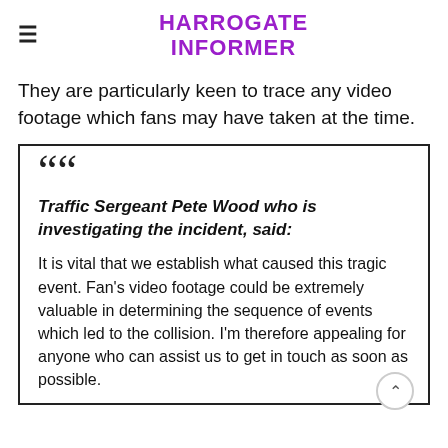HARROGATE INFORMER
They are particularly keen to trace any video footage which fans may have taken at the time.
Traffic Sergeant Pete Wood who is investigating the incident, said: It is vital that we establish what caused this tragic event. Fan's video footage could be extremely valuable in determining the sequence of events which led to the collision. I'm therefore appealing for anyone who can assist us to get in touch as soon as possible.